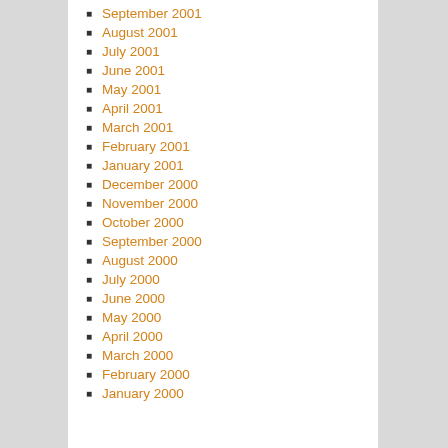September 2001
August 2001
July 2001
June 2001
May 2001
April 2001
March 2001
February 2001
January 2001
December 2000
November 2000
October 2000
September 2000
August 2000
July 2000
June 2000
May 2000
April 2000
March 2000
February 2000
January 2000